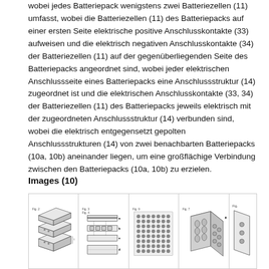wobei jedes Batteriepack wenigstens zwei Batteriezellen (11) umfasst, wobei die Batteriezellen (11) des Batteriepacks auf einer ersten Seite elektrische positive Anschlusskontakte (33) aufweisen und die elektrisch negativen Anschlusskontakte (34) der Batteriezellen (11) auf der gegenüberliegenden Seite des Batteriepacks angeordnet sind, wobei jeder elektrischen Anschlussseite eines Batteriepacks eine Anschlussstruktur (14) zugeordnet ist und die elektrischen Anschlusskontakte (33, 34) der Batteriezellen (11) des Batteriepacks jeweils elektrisch mit der zugeordneten Anschlussstruktur (14) verbunden sind, wobei die elektrisch entgegensetzt gepolten Anschlussstrukturen (14) von zwei benachbarten Batteriepacks (10a, 10b) aneinander liegen, um eine großflächige Verbindung zwischen den Batteriepacks (10a, 10b) zu erzielen.
Images (10)
[Figure (engineering-diagram): Four engineering patent diagram thumbnails showing battery pack assembly views including isometric, exploded, grid array, and detail views labeled as figures.]